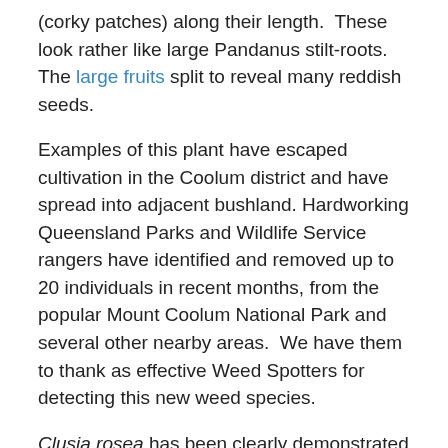(corky patches) along their length. These look rather like large Pandanus stilt-roots. The large fruits split to reveal many reddish seeds.
Examples of this plant have escaped cultivation in the Coolum district and have spread into adjacent bushland. Hardworking Queensland Parks and Wildlife Service rangers have identified and removed up to 20 individuals in recent months, from the popular Mount Coolum National Park and several other nearby areas. We have them to thank as effective Weed Spotters for detecting this new weed species.
Clusia rosea has been clearly demonstrated to invade coastal plant communities in the Hawaiian Islands of Maui, Oahu, Kauai, and the Big Island, and has become weedy in some Sri Lankan ecosystems. There is also evidence